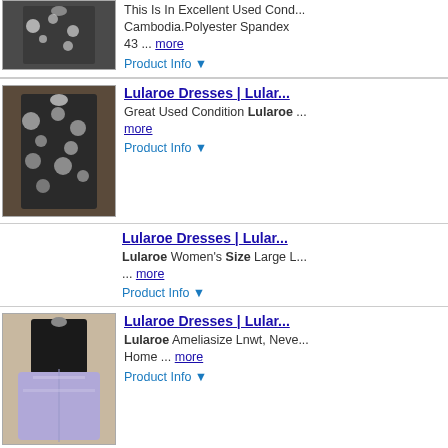[Figure (photo): Partial product listing showing a floral dress on a hanger with dark background]
This Is In Excellent Used Cond... Cambodia.Polyester Spandex 43 ... more
Product Info ▼
[Figure (photo): Dark floral dress with short sleeves on a hanger]
Lularoe Dresses | Lular...
Great Used Condition Lularoe ... more
Product Info ▼
Lularoe Dresses | Lular...
Lularoe Women's Size Large L... ... more
Product Info ▼
[Figure (photo): Black top with lavender/purple full skirt dress on a hanger]
Lularoe Dresses | Lular...
Lularoe Ameliasize Lnwt, Neve... Home ... more
Product Info ▼
[Figure (photo): Colorful striped dress with red, white, black, orange and blue horizontal stripes]
Lularoe Dresses | Lular...
Amelia Dress, Handset Box P... Hidden Pockets Lg Fits 14-16... Orange, Gray, Black & Tan ...
Product Info ▼